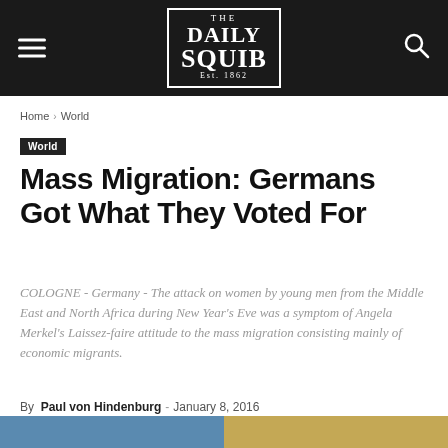THE DAILY SQUIB Est. 1862
Home › World
World
Mass Migration: Germans Got What They Voted For
COLOGNE - Germany - The attack on women by young men from the Middle East and North Africa during New Year's Eve was a symptom of Angela Merkel's Laissez-faire attitude to the mass migration consisting mainly of economic migrants.
By Paul von Hindenburg - January 8, 2016